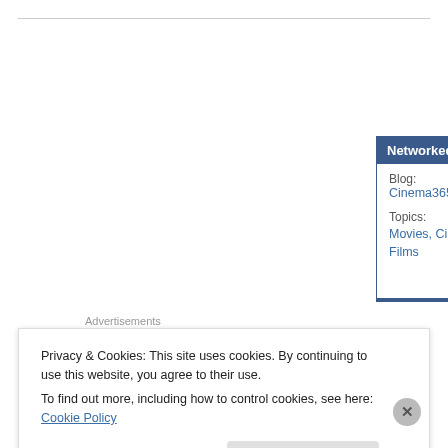[Figure (screenshot): NetworkedBlogs widget showing Blog: Cinema365, Topics: Movies, Cinema, Films, with Follow my blog link]
Advertisements
[Figure (logo): WordPress logo on beige/cream background advertisement area]
Privacy & Cookies: This site uses cookies. By continuing to use this website, you agree to their use.
To find out more, including how to control cookies, see here: Cookie Policy